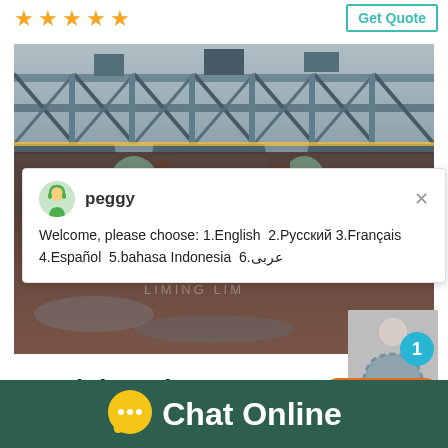[Figure (other): Five orange star rating icons]
Get Quote
[Figure (photo): Industrial mining/processing plant with steel truss structure and large machinery]
[Figure (screenshot): Chat popup with avatar of peggy showing language selection message: Welcome, please choose: 1.English 2.Русский 3.Français 4.Español 5.bahasa Indonesia 6.عربی]
[Figure (photo): Person in striped shirt with teal circle badge showing number 1 and Click to chat button]
PA Mining History  Por
Enquiry
Chat Online